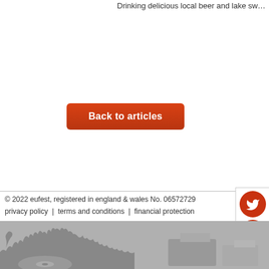Drinking delicious local beer and lake sw…
Back to articles
© 2022 eufest, registered in england & wales No. 06572729
privacy policy  |  terms and conditions  |  financial protection
[Figure (illustration): Silhouette illustration of a music festival crowd and DJ equipment in grey tones]
[Figure (illustration): Social media icons: Twitter, Facebook, Google+, Pinterest — red circles on right side]